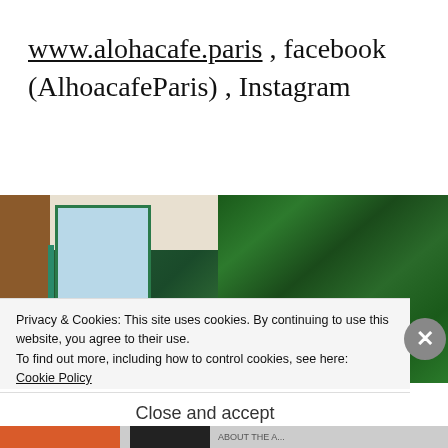www.alohacafe.paris , facebook (AlhoacafeParis) , Instagram
[Figure (photo): Interior photo of Aloha Cafe Paris showing tropical leaf wallpaper on the right wall, teal window frames, warm Edison bulb lighting, and a brown wooden left wall.]
Privacy & Cookies: This site uses cookies. By continuing to use this website, you agree to their use.
To find out more, including how to control cookies, see here:
Cookie Policy
Close and accept